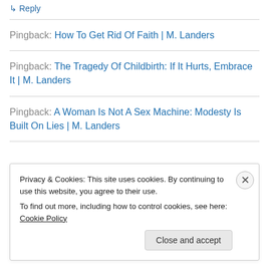↳ Reply
Pingback: How To Get Rid Of Faith | M. Landers
Pingback: The Tragedy Of Childbirth: If It Hurts, Embrace It | M. Landers
Pingback: A Woman Is Not A Sex Machine: Modesty Is Built On Lies | M. Landers
Privacy & Cookies: This site uses cookies. By continuing to use this website, you agree to their use.
To find out more, including how to control cookies, see here: Cookie Policy
Close and accept